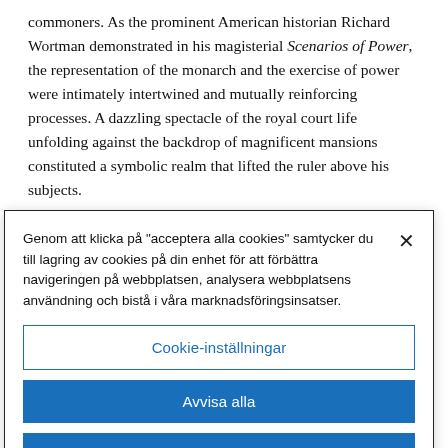commoners. As the prominent American historian Richard Wortman demonstrated in his magisterial Scenarios of Power, the representation of the monarch and the exercise of power were intimately intertwined and mutually reinforcing processes. A dazzling spectacle of the royal court life unfolding against the backdrop of magnificent mansions constituted a symbolic realm that lifted the ruler above his subjects.
At the same time, in their private life most Romanov
Genom att klicka på "acceptera alla cookies" samtycker du till lagring av cookies på din enhet för att förbättra navigeringen på webbplatsen, analysera webbplatsens användning och bistå i våra marknadsföringsinsatser.
Cookie-inställningar
Avvisa alla